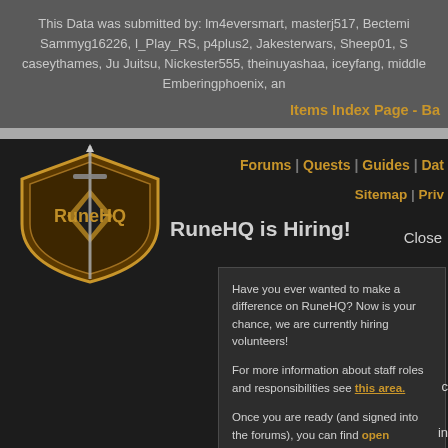This Data was submitted by: lm4eversmart, masterj517, Bectemi, Sammyg16226, I_Play_RS, p4plus2, Jakesterwars, Sheep01, S, caseythames, Ju Juitsu, Nickester555, theinuyashaa, iceyfang, middle, Emberingphoenix, an
Items Index Page - Ba
[Figure (logo): RuneHQ shield logo with sword]
Forums | Quests | Guides | Dat
Sitemap | Priv
RuneHQ is Hiring!
Close
Have you ever wanted to make a difference on RuneHQ? Now is your chance, we are currently hiring volunteers!
For more information about staff roles and responsibilities see this area.
Once you are ready (and signed into the forums), you can find open applications on the navigation bar at the top of the forums.
All submitted content becomes the property of Run